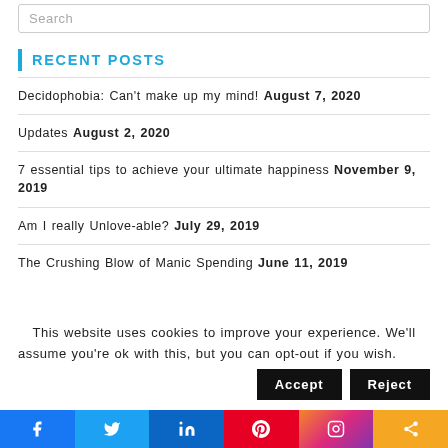Search
Recent Posts
Decidophobia: Can't make up my mind! August 7, 2020
Updates August 2, 2020
7 essential tips to achieve your ultimate happiness November 9, 2019
Am I really Unlove-able? July 29, 2019
The Crushing Blow of Manic Spending June 11, 2019
This website uses cookies to improve your experience. We'll assume you're ok with this, but you can opt-out if you wish.
Social share bar: Facebook, Twitter, LinkedIn, Pinterest, Instagram, Share